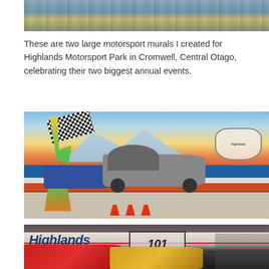[Figure (photo): Top portion of a motorsport mural painted on a wall, showing colorful graffiti-style artwork with blue sky and landscape elements]
These are two large motorsport murals I created for Highlands Motorsport Park in Cromwell, Central Otago, celebrating their two biggest annual events.
[Figure (photo): Motorsport mural on a wall under a structure, featuring a woman in green outfit holding a checkered flag, a vintage open-wheel racing car in silver/grey, a blue classic car, racing stripes in blue, white and orange, and the Highlands logo shield on the right. Orange traffic cones on the ground in front.]
[Figure (photo): Second motorsport mural showing 'Highlands' text in large italic blue letters, '101' in a bordered box, colorful modern race cars (red and yellow/orange) in the foreground, and race driver figures on the right side.]